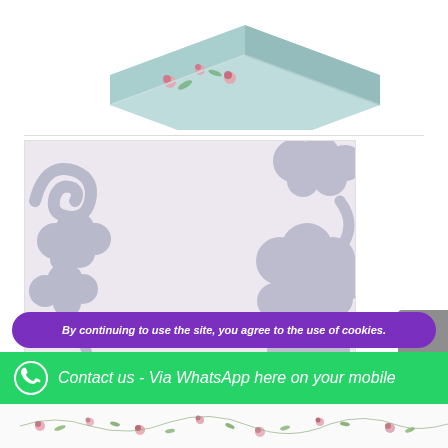[Figure (photo): Floral patterned gift box with light blue/mint color and pink flower print, viewed from above at an angle, cropped at top of page]
[Figure (photo): Close-up of product interior or packaging material with light lavender/pink background and silver/grey decorative cloud and scroll patterns]
By continuing to use the site, you agree to the use of cookies.
Contact us - Via WhatsApp here on your mobile
[Figure (photo): Bottom strip showing floral pattern similar to the top box image]